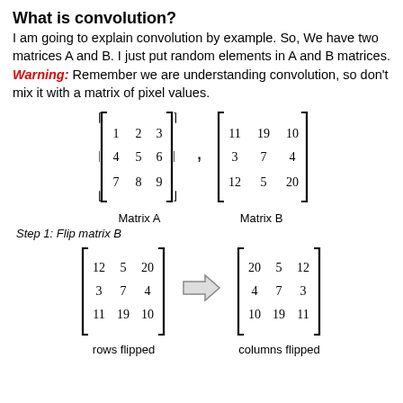What is convolution?
I am going to explain convolution by example. So, We have two matrices A and B. I just put random elements in A and B matrices.
Warning: Remember we are understanding convolution, so don't mix it with a matrix of pixel values.
[Figure (math-figure): Two matrices A and B side by side. Matrix A = [[1,2,3],[4,5,6],[7,8,9]], Matrix B = [[11,19,10],[3,7,4],[12,5,20]]]
Matrix A   Matrix B
Step 1: Flip matrix B
[Figure (math-figure): Matrix B rows flipped = [[12,5,20],[3,7,4],[11,19,10]], then columns flipped = [[20,5,12],[4,7,3],[10,19,11]], with arrow between them. Labels: rows flipped, columns flipped]